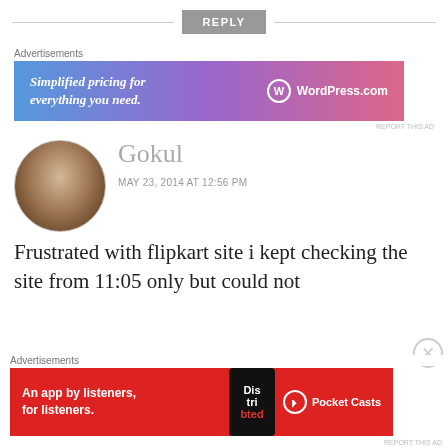REPLY
Advertisements
[Figure (screenshot): WordPress.com advertisement banner: 'Simplified pricing for everything you need.' with WordPress.com logo on gradient blue-pink background]
REPORT THIS AD
Gokul
MAY 23, 2014 AT 12:56 PM
Frustrated with flipkart site i kept checking the site from 11:05 only but could not
Advertisements
[Figure (screenshot): Pocket Casts advertisement: 'An app by listeners, for listeners.' on red background with phone graphic]
REPORT THIS AD